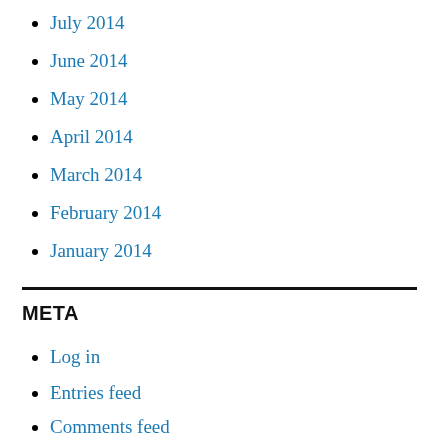July 2014
June 2014
May 2014
April 2014
March 2014
February 2014
January 2014
META
Log in
Entries feed
Comments feed
WordPress.org